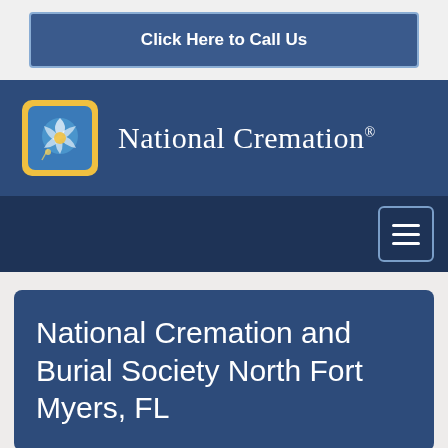Click Here to Call Us
[Figure (logo): National Cremation logo: square icon with yellow border containing blue sun/leaf design, beside the text 'National Cremation']
[Figure (other): Hamburger menu button (three horizontal lines) with square border]
National Cremation and Burial Society North Fort Myers, FL